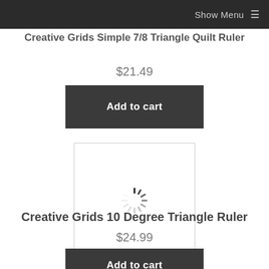Show Menu ≡
Creative Grids Simple 7/8 Triangle Quilt Ruler
$21.49
Add to cart
[Figure (screenshot): Loading spinner image placeholder in a white bordered box]
Creative Grids 10 Degree Triangle Ruler
$24.99
Add to cart